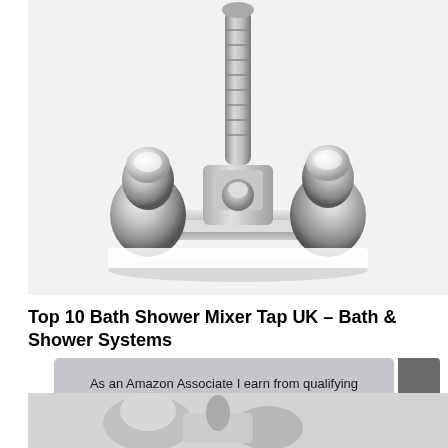[Figure (photo): Close-up photo of a chrome bath shower mixer tap with two round faceted handles and a central shower hose attachment, on a white background]
Top 10 Bath Shower Mixer Tap UK – Bath & Shower Systems
As an Amazon Associate I earn from qualifying purchases. This website uses the only necessary cookies to ensure you get the best experience on our website. More information
[Figure (photo): Partial view of another bath shower mixer tap product at the bottom of the page]